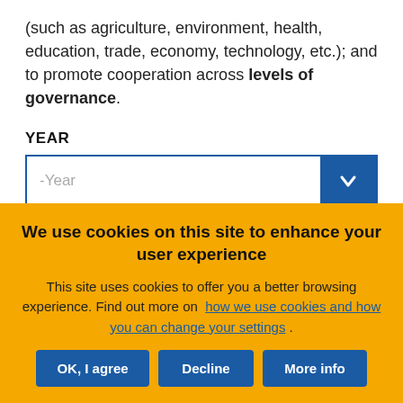(such as agriculture, environment, health, education, trade, economy, technology, etc.); and to promote cooperation across levels of governance.
YEAR
[Figure (screenshot): A dropdown selector labeled '-Year' with a blue button containing a downward chevron arrow on the right side]
[Figure (screenshot): Two partially visible buttons at the bottom of the page content area, one blue filled and one outlined]
We use cookies on this site to enhance your user experience
This site uses cookies to offer you a better browsing experience. Find out more on how we use cookies and how you can change your settings .
OK, I agree
Decline
More info